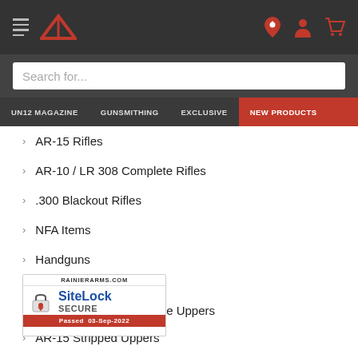[Figure (screenshot): Website header with hamburger menu, Rainier Arms logo, search bar, and navigation menu with UN12 MAGAZINE, GUNSMITHING, EXCLUSIVE, NEW PRODUCTS tabs]
AR-15 Rifles
AR-10 / LR 308 Complete Rifles
.300 Blackout Rifles
NFA Items
Handguns
[Figure (logo): SiteLock SECURE badge - Passed 03-Sep-2022]
AR-15 Complete Uppers
AR-15 Stripped Uppers
[Figure (logo): Google Rating 4.9 stars]
rofiles